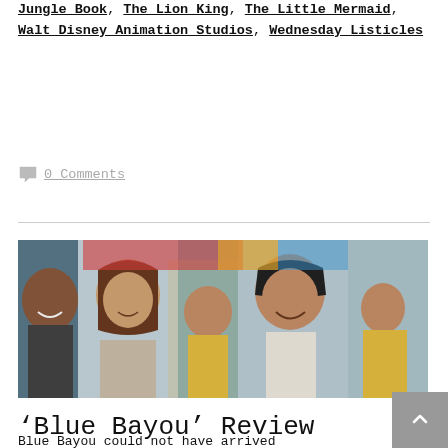Jungle Book, The Lion King, The Little Mermaid, Walt Disney Animation Studios, Wednesday Listicles
0 Comments
[Figure (photo): A family photo showing a smiling Asian man with a woman and a young girl in a yellow outfit, with another child visible on the right side, in front of a colorful background.]
‘Blue Bayou’ Review
Blue Bayou could not have arrived at a more prescient time. When it